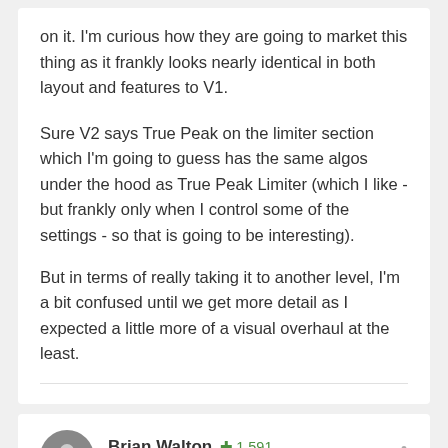on it.  I'm curious how they are going to market this thing as it frankly looks nearly identical in both layout and features to V1.
Sure V2 says True Peak on the limiter section which I'm going to guess has the same algos under the hood as True Peak Limiter (which I like - but frankly only when I control some of the settings - so that is going to be interesting).
But in terms of really taking it to another level, I'm a bit confused until we get more detail as I expected a little more of a visual overhaul at the least.
Brian Walton  +1,591
Posted May 14